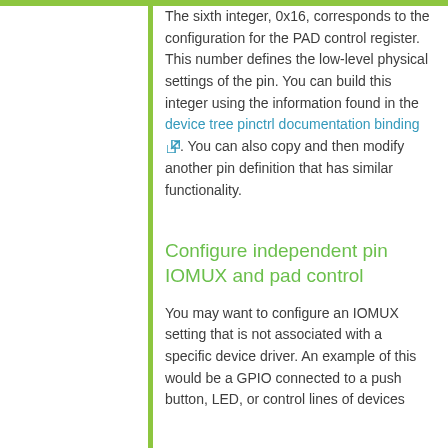The sixth integer, 0x16, corresponds to the configuration for the PAD control register. This number defines the low-level physical settings of the pin. You can build this integer using the information found in the device tree pinctrl documentation binding. You can also copy and then modify another pin definition that has similar functionality.
Configure independent pin IOMUX and pad control
You may want to configure an IOMUX setting that is not associated with a specific device driver. An example of this would be a GPIO connected to a push button, LED, or control lines of devices